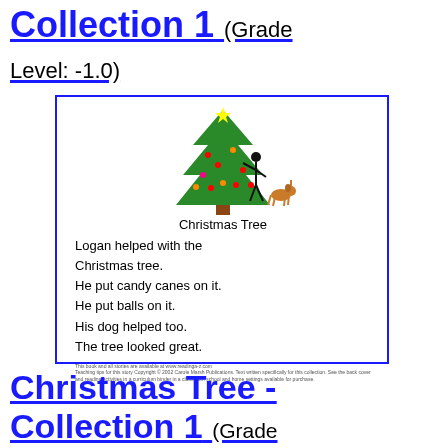Collection 1 (Grade Level: -1.0)
[Figure (illustration): Book cover showing a Christmas tree with a person decorating it and a dog nearby, with text 'Christmas Tree' and story lines below]
Christmas Tree - Collection 1 (Grade Level: -0.9)